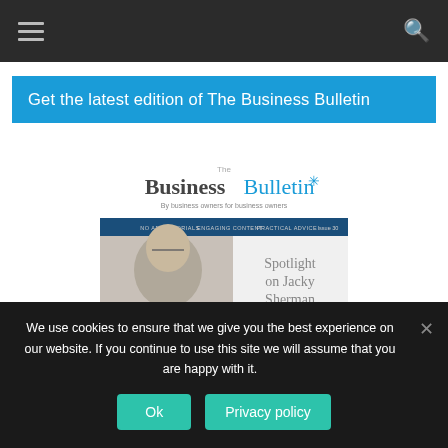Navigation bar with hamburger menu and search icon
Get the latest edition of The Business Bulletin
[Figure (illustration): Magazine cover of The Business Bulletin, Issue 30. Shows 'The Business Bulletin - by business owners for business owners'. Features a photo of Jacky Sherman with text 'Spotlight on Jacky Sherman' and 'PLUS' at the bottom. Blue header bar with 'NO ADVERTORIALS  ENGAGING CONTENT  PRACTICAL ADVICE'.]
We use cookies to ensure that we give you the best experience on our website. If you continue to use this site we will assume that you are happy with it.
Ok
Privacy policy